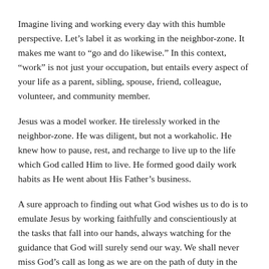Imagine living and working every day with this humble perspective. Let's label it as working in the neighbor-zone. It makes me want to “go and do likewise.” In this context, “work” is not just your occupation, but entails every aspect of your life as a parent, sibling, spouse, friend, colleague, volunteer, and community member.
Jesus was a model worker. He tirelessly worked in the neighbor-zone. He was diligent, but not a workaholic. He knew how to pause, rest, and recharge to live up to the life which God called Him to live. He formed good daily work habits as He went about His Father’s business.
A sure approach to finding out what God wishes us to do is to emulate Jesus by working faithfully and conscientiously at the tasks that fall into our hands, always watching for the guidance that God will surely send our way. We shall never miss God’s call as long as we are on the path of duty in the neighbor-zone.